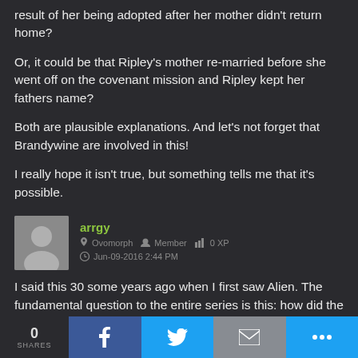result of her being adopted after her mother didn't return home?
Or, it could be that Ripley's mother re-married before she went off on the covenant mission and Ripley kept her fathers name?
Both are plausible explanations. And let's not forget that Brandywine are involved in this!
I really hope it isn't true, but something tells me that it's possible.
arrgy  Ovomorph  Member  0 XP  Jun-09-2016 2:44 PM
I said this 30 some years ago when I first saw Alien. The fundamental question to the entire series is this: how did the company know to send